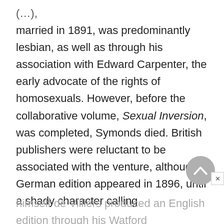(…), married in 1891, was predominantly lesbian, as well as through his association with Edward Carpenter, the early advocate of the rights of homosexuals. However, before the collaborative volume, Sexual Inversion, was completed, Symonds died. British publishers were reluctant to be associated with the venture, although a German edition appeared in 1896, until a shady character calling himself de Villiers produced an English edition through his Watford University…